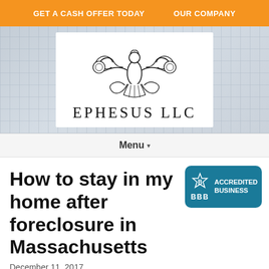GET A CASH OFFER TODAY   OUR COMPANY
[Figure (logo): Ephesus LLC logo: ornate figure with scrollwork, text EPHESUS LLC below]
Menu ▾
How to stay in my home after foreclosure in Massachusetts
[Figure (logo): BBB Accredited Business badge in teal/blue]
December 11, 2017